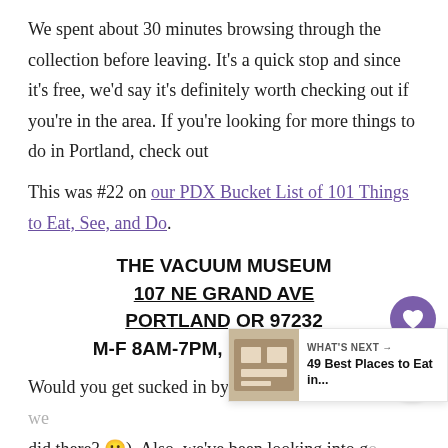We spent about 30 minutes browsing through the collection before leaving. It's a quick stop and since it's free, we'd say it's definitely worth checking out if you're in the area. If you're looking for more things to do in Portland, check out
This was #22 on our PDX Bucket List of 101 Things to Eat, See, and Do.
THE VACUUM MUSEUM
107 NE GRAND AVE
PORTLAND OR 97232
M-F 8AM-7PM, SAT 9AM-4PM
Would you get sucked in by this attraction? (see what we did there? 😉)  Also, we've been looking into ge... vacuum since we moved. Do you have one you would
[Figure (other): WHAT'S NEXT widget with thumbnail image, label 'WHAT'S NEXT →' and title '49 Best Places to Eat in...']